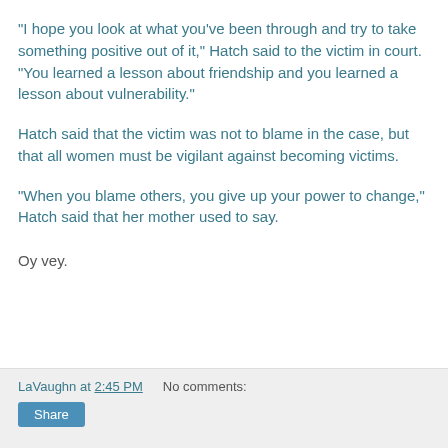"I hope you look at what you've been through and try to take something positive out of it," Hatch said to the victim in court. "You learned a lesson about friendship and you learned a lesson about vulnerability."
Hatch said that the victim was not to blame in the case, but that all women must be vigilant against becoming victims.
"When you blame others, you give up your power to change," Hatch said that her mother used to say.
Oy vey.
LaVaughn at 2:45 PM   No comments:   Share